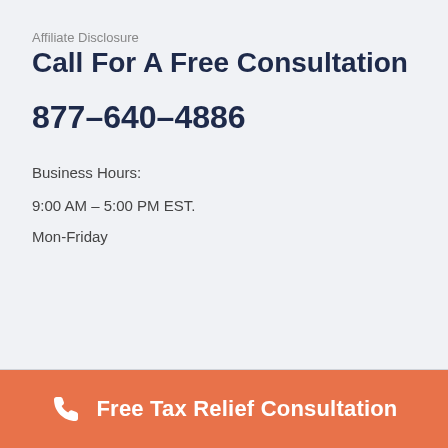Affiliate Disclosure
Call For A Free Consultation
877–640–4886
Business Hours:
9:00 AM – 5:00 PM EST.
Mon-Friday
Free Tax Relief Consultation